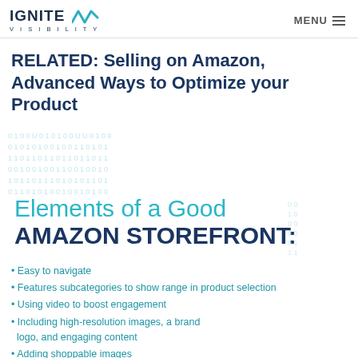IGNITE VISIBILITY | MENU
RELATED: Selling on Amazon, Advanced Ways to Optimize your Product
[Figure (infographic): Infographic showing binary code background (0s and 1s in teal) with overlay text: 'Elements of a Good AMAZON STOREFRONT:']
Easy to navigate
Features subcategories to show range in product selection
Using video to boost engagement
Including high-resolution images, a brand logo, and engaging content
Adding shoppable images